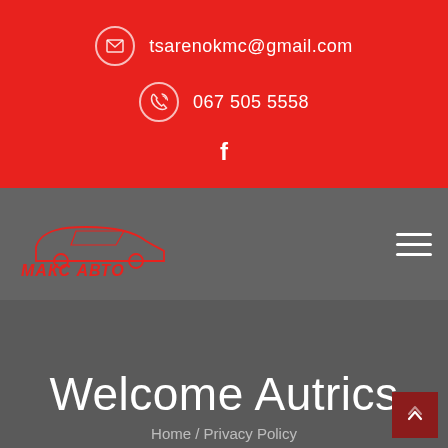tsarenokmc@gmail.com
067 505 5558
[Figure (logo): МАКС АВТО auto service logo with car silhouette outline in red]
Welcome Autrics
Home / Privacy Policy